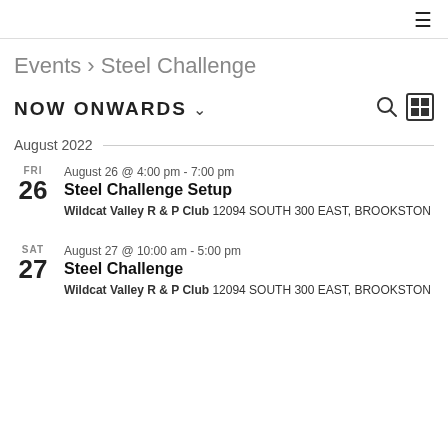≡
Events › Steel Challenge
NOW ONWARDS ∨
August 2022
FRI
26
August 26 @ 4:00 pm - 7:00 pm
Steel Challenge Setup
Wildcat Valley R & P Club 12094 SOUTH 300 EAST, BROOKSTON
SAT
27
August 27 @ 10:00 am - 5:00 pm
Steel Challenge
Wildcat Valley R & P Club 12094 SOUTH 300 EAST, BROOKSTON